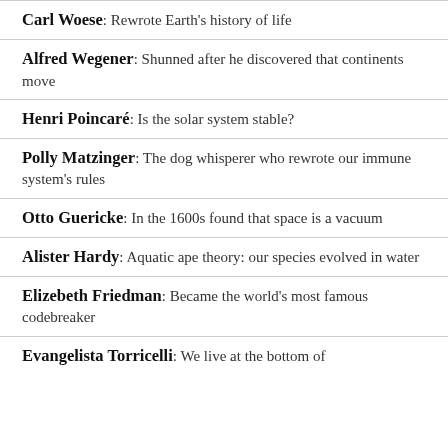Carl Woese: Rewrote Earth's history of life
Alfred Wegener: Shunned after he discovered that continents move
Henri Poincaré: Is the solar system stable?
Polly Matzinger: The dog whisperer who rewrote our immune system's rules
Otto Guericke: In the 1600s found that space is a vacuum
Alister Hardy: Aquatic ape theory: our species evolved in water
Elizebeth Friedman: Became the world's most famous codebreaker
Evangelista Torricelli: We live at the bottom of